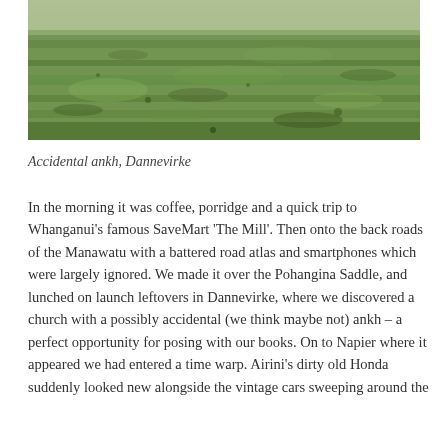[Figure (photo): A photograph of a grass field or lawn, showing green grass from an elevated or ground-level angle. The image is cropped to show mainly the grass surface.]
Accidental ankh, Dannevirke
In the morning it was coffee, porridge and a quick trip to Whanganui's famous SaveMart 'The Mill'. Then onto the back roads of the Manawatu with a battered road atlas and smartphones which were largely ignored. We made it over the Pohangina Saddle, and lunched on launch leftovers in Dannevirke, where we discovered a church with a possibly accidental (we think maybe not) ankh – a perfect opportunity for posing with our books. On to Napier where it appeared we had entered a time warp. Airini's dirty old Honda suddenly looked new alongside the vintage cars sweeping around the